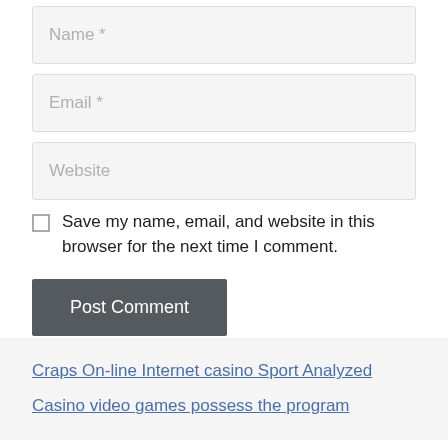Name *
Email *
Website
Save my name, email, and website in this browser for the next time I comment.
Post Comment
Craps On-line Internet casino Sport Analyzed
Casino video games possess the program